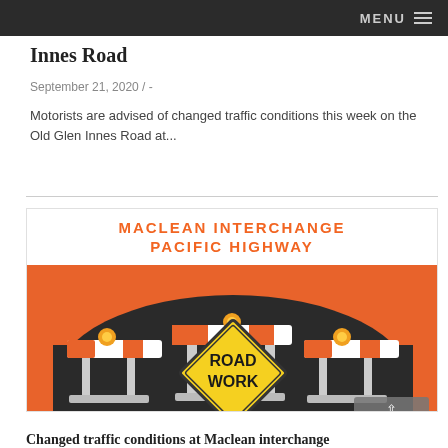MENU
Innes Road
September 21, 2020 / -
Motorists are advised of changed traffic conditions this week on the Old Glen Innes Road at...
[Figure (photo): Road work construction signs with orange and white barricades and a yellow diamond 'ROAD WORK' sign, with NSW Government logo, and header text 'MACLEAN INTERCHANGE PACIFIC HIGHWAY']
Changed traffic conditions at Maclean interchange